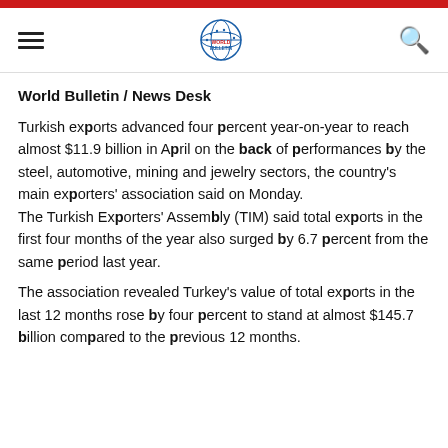World Bulletin / News Desk
Turkish exports advanced four percent year-on-year to reach almost $11.9 billion in April on the back of performances by the steel, automotive, mining and jewelry sectors, the country's main exporters' association said on Monday. The Turkish Exporters' Assembly (TIM) said total exports in the first four months of the year also surged by 6.7 percent from the same period last year.
The association revealed Turkey's value of total exports in the last 12 months rose by four percent to stand at almost $145.7 billion compared to the previous 12 months.